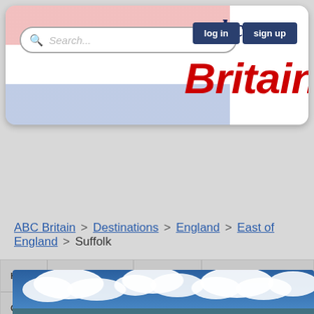[Figure (screenshot): abc Britain website header with Union Jack flag background, search bar, abc handwriting logo, Britain text logo in red, and log in / sign up buttons]
HOME | DESTINATIONS | FEATURES | ACTIVITIES | CONTACT US
ABC Britain > Destinations > England > East of England > Suffolk
[Figure (photo): Sky with clouds and hints of a landscape below]